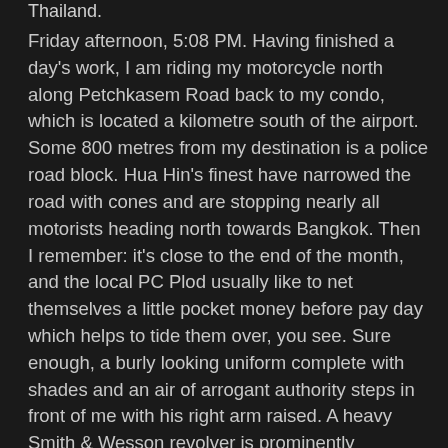Thailand.
Friday afternoon, 5:08 PM. Having finished a day's work, I am riding my motorcycle north along Petchkasem Road back to my condo, which is located a kilometre south of the airport. Some 800 metres from my destination is a police road block. Hua Hin's finest have narrowed the road with cones and are stopping nearly all motorists heading north towards Bangkok. Then I remember: it's close to the end of the month, and the local PC Plod usually like to net themselves a little pocket money before pay day which helps to tide them over, you see. Sure enough, a burly looking uniform complete with shades and an air of arrogant authority steps in front of me with his right arm raised. A heavy Smith & Wesson revolver is prominently holstered to his right hip. Very macho. Slowing down, I pull over to the right as indicated. "Where your driving licence?" he asks. I reach into my right trouser pocket, and hand